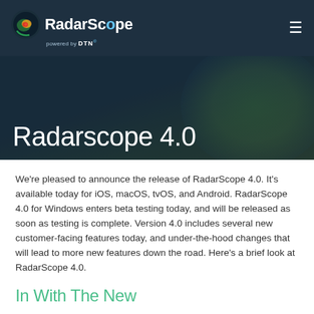RadarScope powered by DTN
[Figure (illustration): RadarScope hero banner with title 'Radarscope 4.0' over a dark teal/green radar background image]
Radarscope 4.0
We're pleased to announce the release of RadarScope 4.0. It's available today for iOS, macOS, tvOS, and Android. RadarScope 4.0 for Windows enters beta testing today, and will be released as soon as testing is complete. Version 4.0 includes several new customer-facing features today, and under-the-hood changes that will lead to more new features down the road. Here's a brief look at RadarScope 4.0.
In With The New